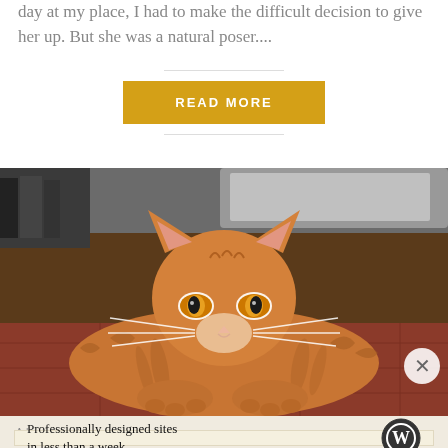day at my place, I had to make the difficult decision to give her up. But she was a natural poser....
READ MORE
[Figure (photo): Orange tabby kitten with amber eyes lying down and looking at the camera, with books and clutter in the background]
Advertisements
Professionally designed sites in less than a week